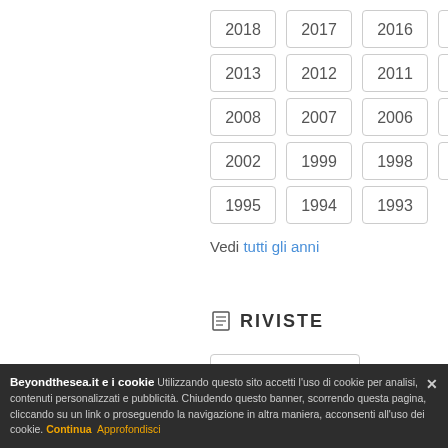2018, 2017, 2016, 2015, 2014, 2013, 2012, 2011, 2010, 2009, 2008, 2007, 2006, 2005, 2004, 2002, 1999, 1998, 1997, 1996, 1995, 1994, 1993
Vedi tutti gli anni
RIVISTE
FOX (ITA)
Entertainment Weekly (USA)
John Kenneth Muir's Reflections on Cult
Beyondthesea.it e i cookie Utilizzando questo sito accetti l'uso di cookie per analisi, contenuti personalizzati e pubblicità. Chiudendo questo banner, scorrendo questa pagina, cliccando su un link o proseguendo la navigazione in altra maniera, acconsenti all'uso dei cookie. Continua Approfondisci